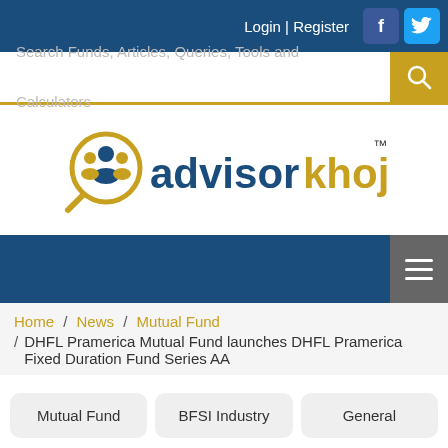Login | Register
[Figure (screenshot): AdvisorKhoj logo with magnifying glass icon and figures]
Search Funds, Articles, Queries, Tools and Calculators
Home / News / Mutual Fund / DHFL Pramerica Mutual Fund launches DHFL Pramerica Fixed Duration Fund Series AA
Mutual Fund
BFSI Industry
General
Share Markets
Income Tax
NFO